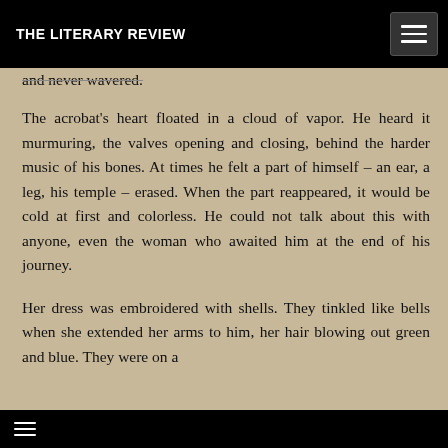THE LITERARY REVIEW
and never wavered.
The acrobat's heart floated in a cloud of vapor. He heard it murmuring, the valves opening and closing, behind the harder music of his bones. At times he felt a part of himself – an ear, a leg, his temple – erased. When the part reappeared, it would be cold at first and colorless. He could not talk about this with anyone, even the woman who awaited him at the end of his journey.
Her dress was embroidered with shells. They tinkled like bells when she extended her arms to him, her hair blowing out green and blue. They were on a